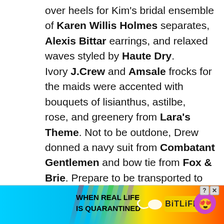over heels for Kim's bridal ensemble of Karen Willis Holmes separates, Alexis Bittar earrings, and relaxed waves styled by Haute Dry. Ivory J.Crew and Amsale frocks for the maids were accented with bouquets of lisianthus, astilbe, rose, and greenery from Lara's Theme. Not to be outdone, Drew donned a navy suit from Combatant Gentlemen and bow tie from Fox & Brie. Prepare to be transported to paradise in the beautiful images from Charlie Juliet Photography!
[Figure (infographic): Advertisement banner for BitLife app with colorful rainbow/sunburst background, text 'WHEN REAL LIFE IS QUARANTINED', sperm emoji graphic, BitLife logo in yellow, and animated emoji characters with masks and stars for eyes.]